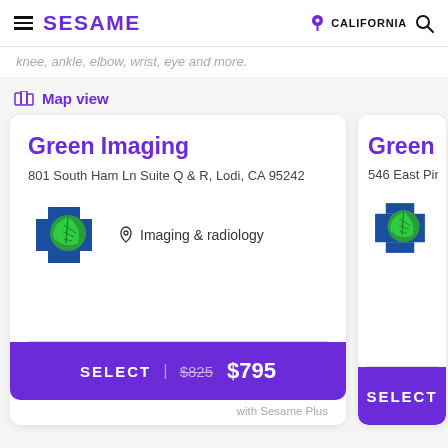SESAME | CALIFORNIA
knee, ankle, elbow, wrist, eye and more.
Map view
Green Imaging
801 South Ham Ln Suite Q & R, Lodi, CA 95242
Imaging & radiology
SELECT | $825 $795
with Sesame Plus
Green Im
546 East Pine
SELECT